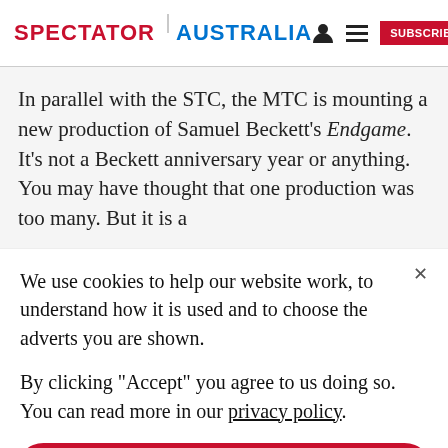SPECTATOR | AUSTRALIA
In parallel with the STC, the MTC is mounting a new production of Samuel Beckett’s Endgame. It’s not a Beckett anniversary year or anything. You may have thought that one production was too many. But it is a
We use cookies to help our website work, to understand how it is used and to choose the adverts you are shown.
By clicking “Accept” you agree to us doing so. You can read more in our privacy policy.
Accept